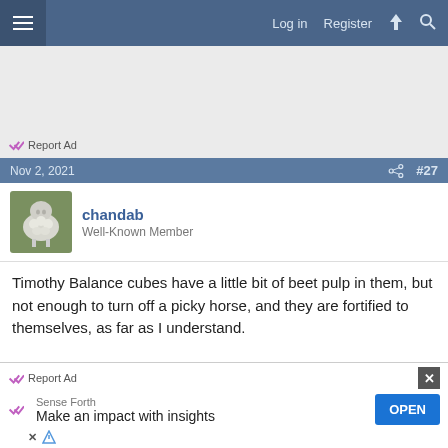Log in  Register
[Figure (other): Advertisement banner area with light gray background]
Report Ad
Nov 2, 2021  #27
[Figure (photo): Avatar photo of a sheep in green field]
chandab
Well-Known Member
Timothy Balance cubes have a little bit of beet pulp in them, but not enough to turn off a picky horse, and they are fortified to themselves, as far as I understand.
Report Ad
Sense Forth
Make an impact with insights
OPEN